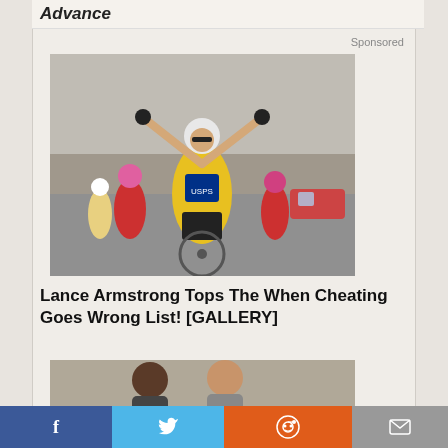Advance
Sponsored
[Figure (photo): Lance Armstrong in yellow jersey celebrating a Tour de France victory with arms raised, cyclists behind him]
Lance Armstrong Tops The When Cheating Goes Wrong List! [GALLERY]
[Figure (photo): Two people outdoors, partially visible at bottom of page]